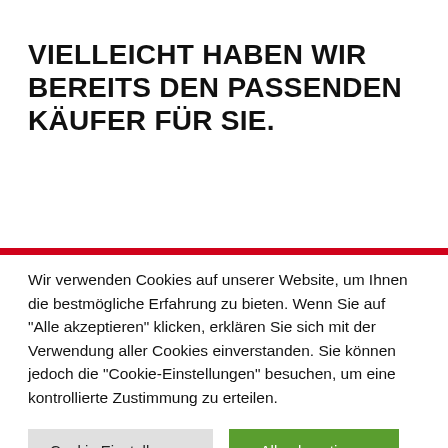VIELLEICHT HABEN WIR BEREITS DEN PASSENDEN KÄUFER FÜR SIE.
Wir verwenden Cookies auf unserer Website, um Ihnen die bestmögliche Erfahrung zu bieten. Wenn Sie auf "Alle akzeptieren" klicken, erklären Sie sich mit der Verwendung aller Cookies einverstanden. Sie können jedoch die "Cookie-Einstellungen" besuchen, um eine kontrollierte Zustimmung zu erteilen.
Cookie Einstellungen | Alle akzeptieren